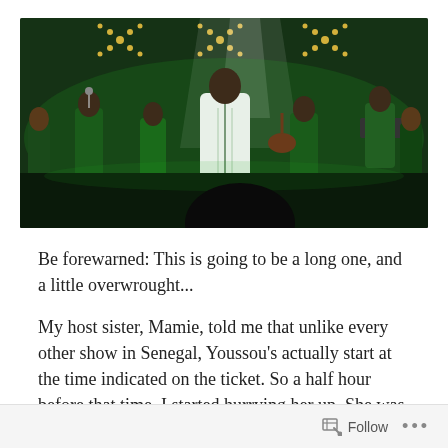[Figure (photo): Concert photo showing musicians on stage under green lighting. A central figure in a white robe stands at center stage surrounded by band members. LED light decorations and spotlights are visible in the background.]
Be forewarned: This is going to be a long one, and a little overwrought...
My host sister, Mamie, told me that unlike every other show in Senegal, Youssou's actually start at the time indicated on the ticket. So a half hour before that time, I started hurrying her up. She was dressed to the nines – skintight red pantsuit, platform heels, pancake makeup,
Follow ···